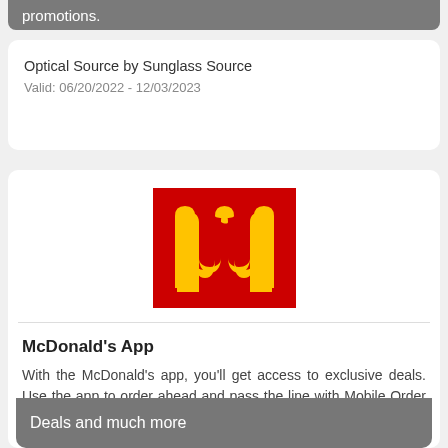promotions.
Optical Source by Sunglass Source
Valid: 06/20/2022 - 12/03/2023
[Figure (logo): McDonald's logo — golden arches 'M' on red background]
McDonald's App
With the McDonald's app, you'll get access to exclusive deals. Use the app to order ahead and pass the line with Mobile Order & Pay ...
Deals and much more